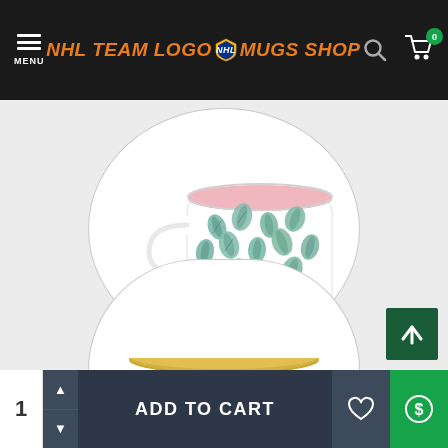NHL TEAM LOGO MUGS SHOP
[Figure (photo): White ceramic mug with teal/green eucalyptus leaf pattern and pink interior, shown inside a circular frame. Labeled 'Pink' below.]
Pink
[Figure (photo): Partially visible second mug (gold/yellow interior) in a circular frame at the bottom of the viewport.]
ADD TO CART